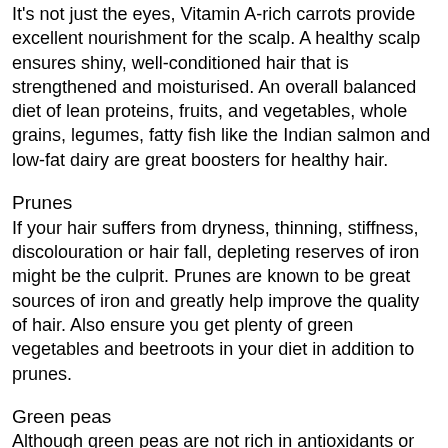It's not just the eyes, Vitamin A-rich carrots provide excellent nourishment for the scalp. A healthy scalp ensures shiny, well-conditioned hair that is strengthened and moisturised. An overall balanced diet of lean proteins, fruits, and vegetables, whole grains, legumes, fatty fish like the Indian salmon and low-fat dairy are great boosters for healthy hair.
Prunes
If your hair suffers from dryness, thinning, stiffness, discolouration or hair fall, depleting reserves of iron might be the culprit. Prunes are known to be great sources of iron and greatly help improve the quality of hair. Also ensure you get plenty of green vegetables and beetroots in your diet in addition to prunes.
Green peas
Although green peas are not rich in antioxidants or any specific vitamin or mineral, they contain a well-balanced amount of vitamins and minerals such as iron, zinc and B group vitamins. These are essential for maintaining healthy hair.